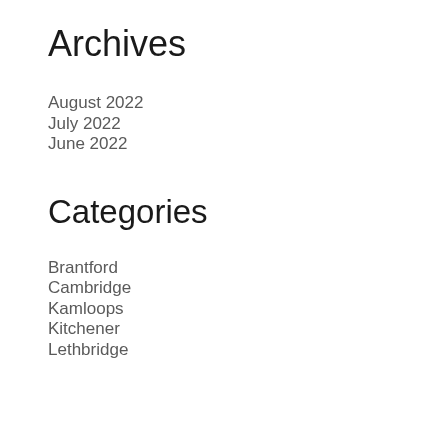Archives
August 2022
July 2022
June 2022
Categories
Brantford
Cambridge
Kamloops
Kitchener
Lethbridge